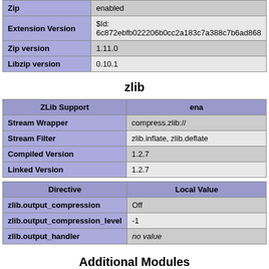| Zip | enabled |
| --- | --- |
| Zip | enabled |
| Extension Version | $Id: 6c872ebfb022206b0cc2a183c7a388c7b6ad868... |
| Zip version | 1.11.0 |
| Libzip version | 0.10.1 |
zlib
| ZLib Support | enabled |
| --- | --- |
| Stream Wrapper | compress.zlib:// |
| Stream Filter | zlib.inflate, zlib.deflate |
| Compiled Version | 1.2.7 |
| Linked Version | 1.2.7 |
| Directive | Local Value |
| --- | --- |
| zlib.output_compression | Off |
| zlib.output_compression_level | -1 |
| zlib.output_handler | no value |
Additional Modules